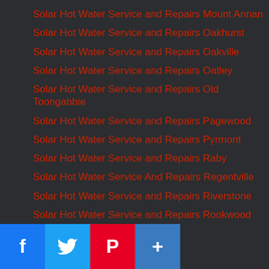Solar Hot Water Service and Repairs Mount Annan
Solar Hot Water Service and Repairs Oakhurst
Solar Hot Water Service and Repairs Oakville
Solar Hot Water Service and Repairs Oatley
Solar Hot Water Service and Repairs Old Toongabbie
Solar Hot Water Service and Repairs Pagewood
Solar Hot Water Service and Repairs Pyrmont
Solar Hot Water Service and Repairs Raby
Solar Hot Water Service And Repairs Regentville
Solar Hot Water Service and Repairs Riverstone
Solar Hot Water Service and Repairs Rookwood
Solar Hot Water Service and Repairs Roselands
Solar Hot Water Service and Repairs Sefton
Solar Hot Water Service and Repairs Smithfield
Solar Hot Water Service and Repairs Summer Hill
Solar Hot Water Service and Repairs Telopea
Solar Hot Water Service and Repairs The Spit
Solar Hot Water Service and Repairs Ultimo
Solar Hot Water Service and Repairs Yowle Bay
[Figure (other): Social media share buttons: Facebook, Twitter, Pinterest, and a plus/share button]